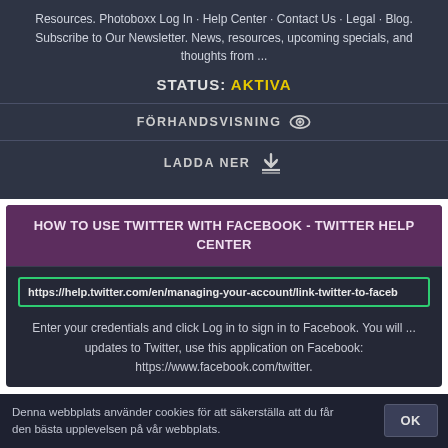Resources. Photoboxx Log In · Help Center · Contact Us · Legal · Blog. Subscribe to Our Newsletter. News, resources, upcoming specials, and thoughts from ...
STATUS: AKTIVA
FÖRHANDSVISNING 👁
LADDA NER ⬇
HOW TO USE TWITTER WITH FACEBOOK - TWITTER HELP CENTER
https://help.twitter.com/en/managing-your-account/link-twitter-to-faceb
Enter your credentials and click Log in to sign in to Facebook. You will ... updates to Twitter, use this application on Facebook: https://www.facebook.com/twitter.
Denna webbplats använder cookies för att säkerställa att du får den bästa upplevelsen på vår webbplats. OK